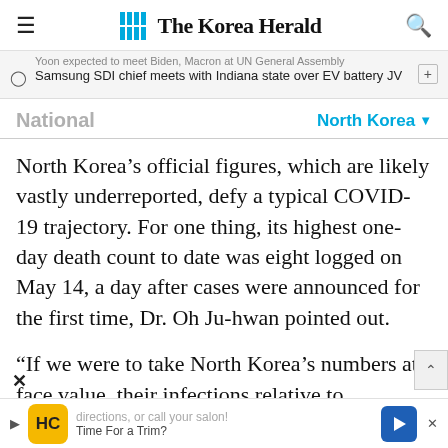The Korea Herald
Samsung SDI chief meets with Indiana state over EV battery JV
National   North Korea
North Korea’s official figures, which are likely vastly underreported, defy a typical COVID-19 trajectory. For one thing, its highest one-day death count to date was eight logged on May 14, a day after cases were announced for the first time, Dr. Oh Ju-hwan pointed out.
“If we were to take North Korea’s numbers at face value, their infections relative to